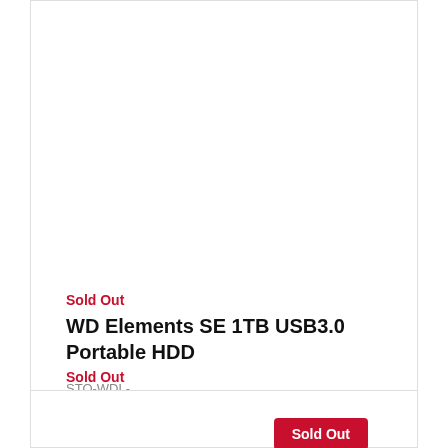Sold Out
WD Elements SE 1TB USB3.0 Portable HDD
STO-WDL-WDBEPK0010BBKWESN
Sold Out